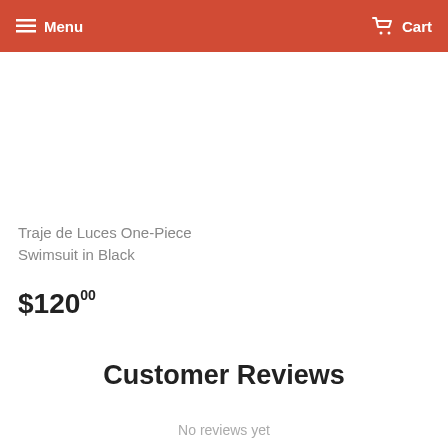Menu  Cart
Traje de Luces One-Piece Swimsuit in Black
$120.00
Customer Reviews
No reviews yet